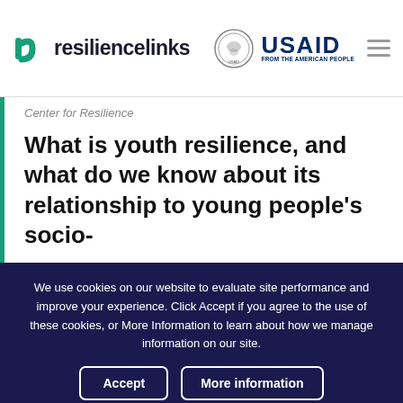resiliencelinks | USAID FROM THE AMERICAN PEOPLE
Center for Resilience
What is youth resilience, and what do we know about its relationship to young people's socio-
We use cookies on our website to evaluate site performance and improve your experience. Click Accept if you agree to the use of these cookies, or More Information to learn about how we manage information on our site.
Accept | More information